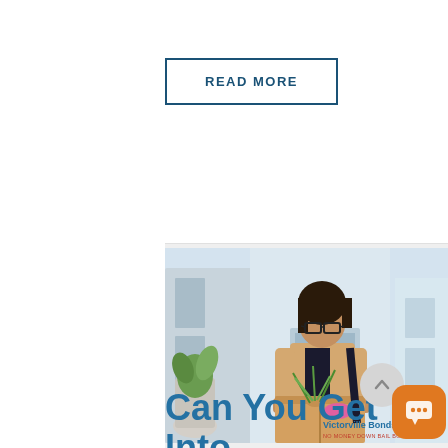READ MORE
[Figure (photo): A woman wearing glasses and a blazer carrying a cardboard box with a plant and belongings, looking down, appearing to have been laid off from work. Background shows an office building entrance. Watermark reads 'Victorville Bonds NO MONEY DOWN BAIL BOND'.]
Can You Get Into Trouble For Not